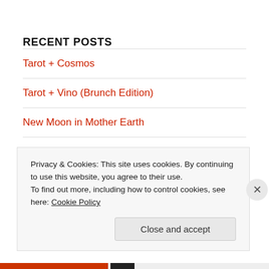RECENT POSTS
Tarot + Cosmos
Tarot + Vino (Brunch Edition)
New Moon in Mother Earth
Shamanic Journeying: What is it? And how to do it.
Your Heart is a Planet
Privacy & Cookies: This site uses cookies. By continuing to use this website, you agree to their use.
To find out more, including how to control cookies, see here: Cookie Policy
Close and accept